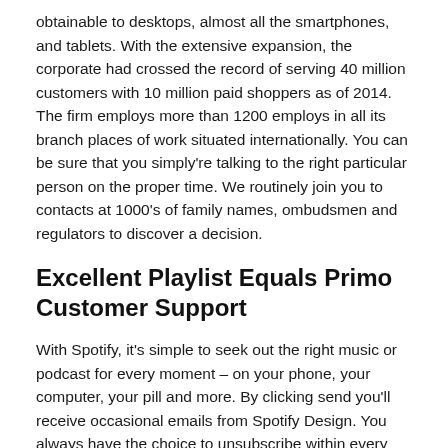obtainable to desktops, almost all the smartphones, and tablets. With the extensive expansion, the corporate had crossed the record of serving 40 million customers with 10 million paid shoppers as of 2014. The firm employs more than 1200 employs in all its branch places of work situated internationally. You can be sure that you simply're talking to the right particular person on the proper time. We routinely join you to contacts at 1000's of family names, ombudsmen and regulators to discover a decision.
Excellent Playlist Equals Primo Customer Support
With Spotify, it's simple to seek out the right music or podcast for every moment – on your phone, your computer, your pill and more. By clicking send you'll receive occasional emails from Spotify Design. You always have the choice to unsubscribe within every